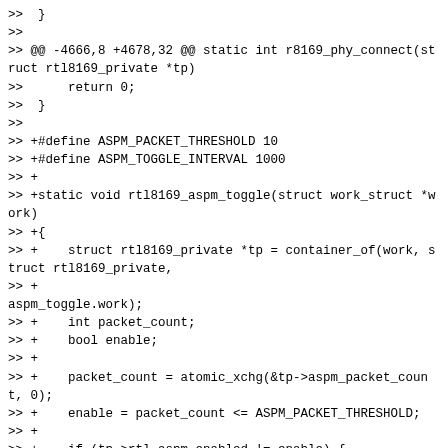>> }
>>
>> @@ -4666,8 +4678,32 @@ static int r8169_phy_connect(struct rtl8169_private *tp)
>>      return 0;
>>  }
>>
>> +#define ASPM_PACKET_THRESHOLD 10
>> +#define ASPM_TOGGLE_INTERVAL 1000
>> +
>> +static void rtl8169_aspm_toggle(struct work_struct *work)
>> +{
>> +    struct rtl8169_private *tp = container_of(work, struct rtl8169_private,
>> +
aspm_toggle.work);
>> +    int packet_count;
>> +    bool enable;
>> +
>> +    packet_count = atomic_xchg(&tp->aspm_packet_count, 0);
>> +    enable = packet_count <= ASPM_PACKET_THRESHOLD;
>> +
>> +    if (tp->rtl_aspm_enabled != enable) {
>> +            rtl_unlock_config_regs(tp);
>> +            rtl_hw_aspm_clkreq_enable(tp, enable);
>> +            rtl_lock_config_regs(tp);
>> +    }
>> +
>> +    schedule_delayed_work(&tp->aspm_toggle,